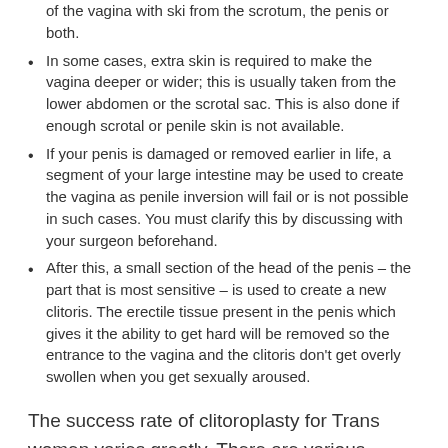of the vagina with ski from the scrotum, the penis or both.
In some cases, extra skin is required to make the vagina deeper or wider; this is usually taken from the lower abdomen or the scrotal sac. This is also done if enough scrotal or penile skin is not available.
If your penis is damaged or removed earlier in life, a segment of your large intestine may be used to create the vagina as penile inversion will fail or is not possible in such cases. You must clarify this by discussing with your surgeon beforehand.
After this, a small section of the head of the penis – the part that is most sensitive – is used to create a new clitoris. The erectile tissue present in the penis which gives it the ability to get hard will be removed so the entrance to the vagina and the clitoris don't get overly swollen when you get sexually aroused.
The success rate of clitoroplasty for Trans women varies greatly. There are various causes of failure but the most common reason is necrosis. Necrosis is the death of the tissues due to lack of blood supply. Another great risk is the damage to pudendal nerves which greatly reduces the